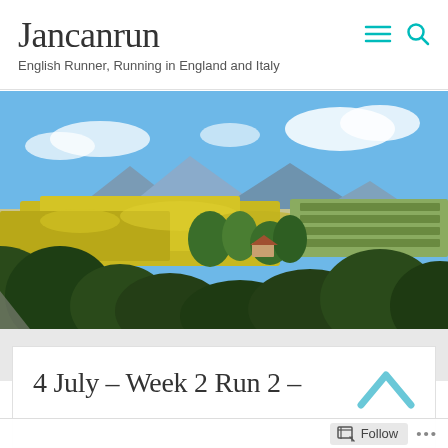Jancanrun
English Runner, Running in England and Italy
[Figure (photo): Landscape photo showing rolling countryside with yellow flowering fields, green trees and shrubs in the foreground, mountains in the background under a blue sky with white clouds.]
4 July – Week 2 Run 2 –